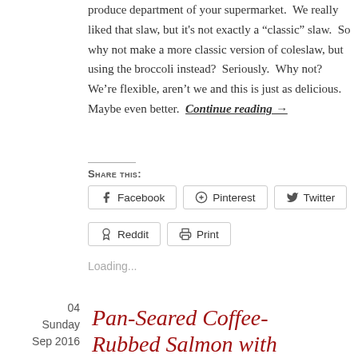produce department of your supermarket.  We really liked that slaw, but it's not exactly a "classic" slaw.  So why not make a more classic version of coleslaw, but using the broccoli instead?  Seriously.  Why not?  We're flexible, aren't we and this is just as delicious.  Maybe even better.  Continue reading →
Share this:
Facebook  Pinterest  Twitter  Reddit  Print
Loading...
04
Sunday
Sep 2016
Pan-Seared Coffee-Rubbed Salmon with